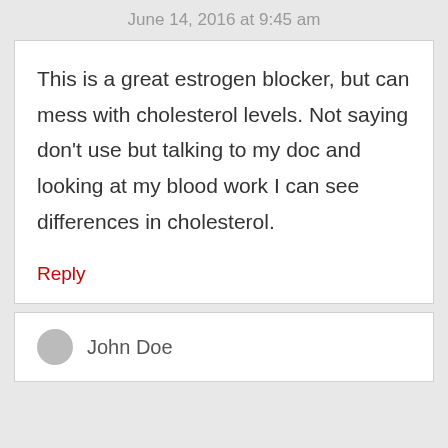June 14, 2016 at 9:45 am
This is a great estrogen blocker, but can mess with cholesterol levels. Not saying don't use but talking to my doc and looking at my blood work I can see differences in cholesterol.
Reply
John Doe